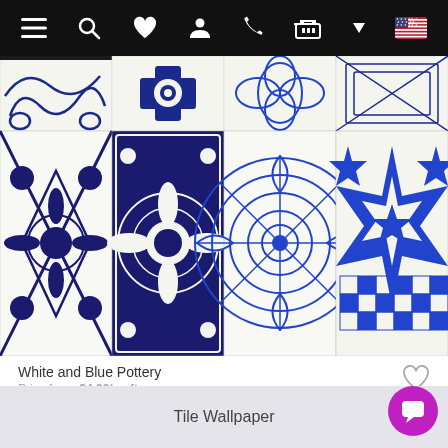[Figure (screenshot): Top navigation bar with hamburger menu, search, heart/favorite, user, phone, cart icons and US flag]
[Figure (photo): Grid of blue and white decorative pottery/tile patterns arranged in two rows of four tiles each]
White and Blue Pottery
Price from: $4.92/sq ft
Can't find the image you're looking for?
Find your perfect image
Tile Wallpaper